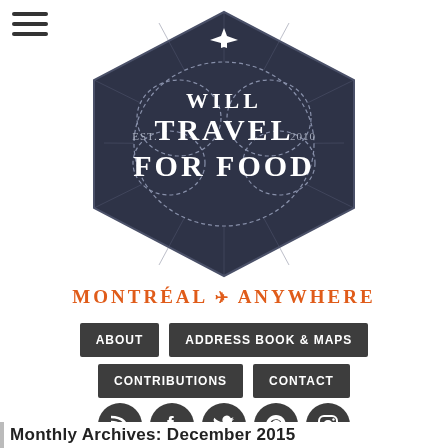[Figure (logo): Will Travel For Food blog logo — dark hexagon badge with airplane on top, text WILL TRAVEL FOR FOOD, EST. 2010]
MONTRÉAL ✈ ANYWHERE
ABOUT
ADDRESS BOOK & MAPS
CONTRIBUTIONS
CONTACT
[Figure (infographic): Social media icons: RSS, Facebook, Twitter, Pinterest, Instagram]
Monthly Archives: December 2015